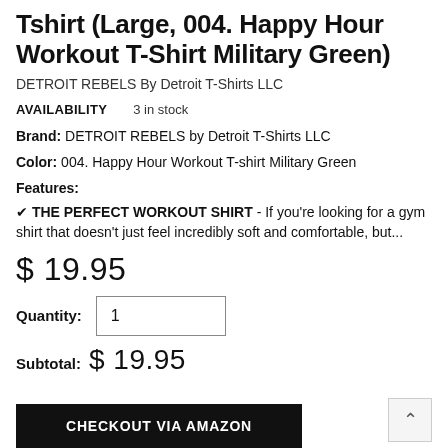Tshirt (Large, 004. Happy Hour Workout T-Shirt Military Green)
DETROIT REBELS By Detroit T-Shirts LLC
AVAILABILITY   3 in stock
Brand: DETROIT REBELS by Detroit T-Shirts LLC
Color: 004. Happy Hour Workout T-shirt Military Green
Features:
✔ THE PERFECT WORKOUT SHIRT - If you're looking for a gym shirt that doesn't just feel incredibly soft and comfortable, but...
$ 19.95
Quantity: 1
Subtotal: $ 19.95
CHECKOUT VIA AMAZON